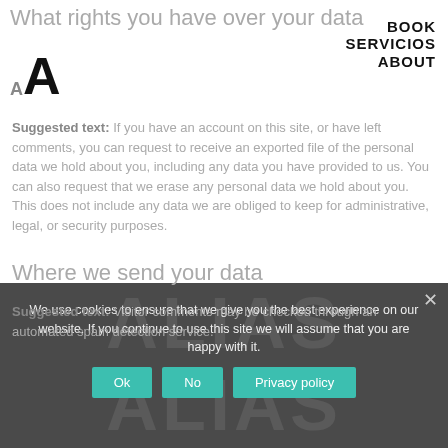What rights you have over your data
[Figure (other): Font size selector showing small 'a' and large 'A' icons]
Suggested text: If you have an account on this site, or have left comments, you can request to receive an exported file of the personal data we hold about you, including any data you have provided to us. You can also request that we erase any personal data we hold about you. This does not include any data we are obliged to keep for administrative, legal, or security purposes.
BOOK SERVICIOS ABOUT
Where we send your data
Suggested text: Visitor comments may be checked through an automated spam detection service.
We use cookies to ensure that we give you the best experience on our website. If you continue to use this site we will assume that you are happy with it.
Ok  No  Privacy policy
ALIAS ALIAS